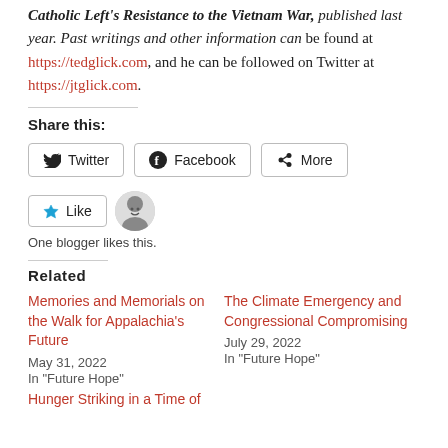Catholic Left's Resistance to the Vietnam War, published last year. Past writings and other information can be found at https://tedglick.com, and he can be followed on Twitter at https://jtglick.com.
Share this:
Twitter  Facebook  More
Like  [avatar]  One blogger likes this.
Related
Memories and Memorials on the Walk for Appalachia's Future
May 31, 2022
In "Future Hope"
The Climate Emergency and Congressional Compromising
July 29, 2022
In "Future Hope"
Hunger Striking in a Time of